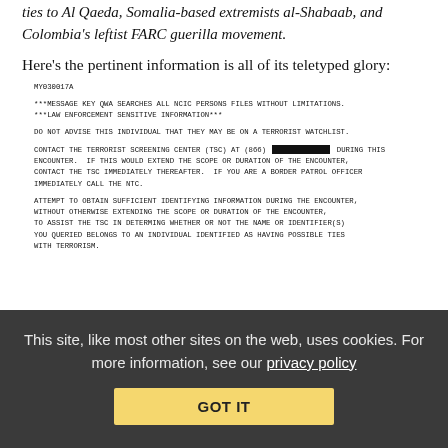ties to Al Qaeda, Somalia-based extremists al-Shabaab, and Colombia's leftist FARC guerilla movement.
Here's the pertinent information is all of its teletyped glory:
MY030017A

***MESSAGE KEY QWA SEARCHES ALL NCIC PERSONS FILES WITHOUT LIMITATIONS.
***LAW ENFORCEMENT SENSITIVE INFORMATION***

DO NOT ADVISE THIS INDIVIDUAL THAT THEY MAY BE ON A TERRORIST WATCHLIST.

CONTACT THE TERRORIST SCREENING CENTER (TSC) AT (866) [REDACTED] DURING THIS ENCOUNTER.  IF THIS WOULD EXTEND THE SCOPE OR DURATION OF THE ENCOUNTER, CONTACT THE TSC IMMEDIATELY THEREAFTER.  IF YOU ARE A BORDER PATROL OFFICER IMMEDIATELY CALL THE NTC.

ATTEMPT TO OBTAIN SUFFICIENT IDENTIFYING INFORMATION DURING THE ENCOUNTER, WITHOUT OTHERWISE EXTENDING THE SCOPE OR DURATION OF THE ENCOUNTER, TO ASSIST THE TSC IN DETERMING WHETHER OR NOT THE NAME OR IDENTIFIER(S) YOU QUERIED BELONGS TO AN INDIVIDUAL IDENTIFIED AS HAVING POSSIBLE TIES WITH TERRORISM.
This site, like most other sites on the web, uses cookies. For more information, see our privacy policy
GOT IT